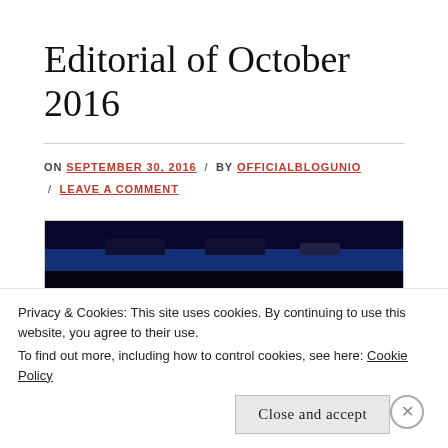Editorial of October 2016
ON SEPTEMBER 30, 2016 / BY OFFICIALBLOGUNIO / LEAVE A COMMENT
[Figure (photo): Dark blue stage or event photo with silhouettes and blue lighting]
Privacy & Cookies: This site uses cookies. By continuing to use this website, you agree to their use.
To find out more, including how to control cookies, see here: Cookie Policy
Close and accept